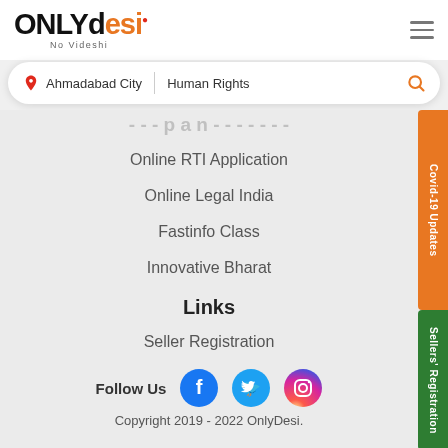[Figure (logo): ONLYdesi logo with tagline 'No Videshi']
[Figure (screenshot): Search bar with location 'Ahmadabad City' and search term 'Human Rights']
Online RTI Application
Online Legal India
Fastinfo Class
Innovative Bharat
Links
Seller Registration
Follow Us
Copyright 2019 - 2022 OnlyDesi.